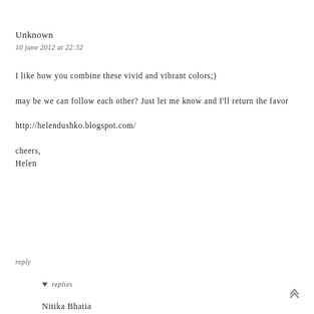Unknown
10 june 2012 at 22:32
I like how you combine these vivid and vibrant colors;)

may be we can follow each other? Just let me know and I'll return the favor

http://helendushko.blogspot.com/

cheers,
Helen
reply
▼ replies
Nitika Bhatia